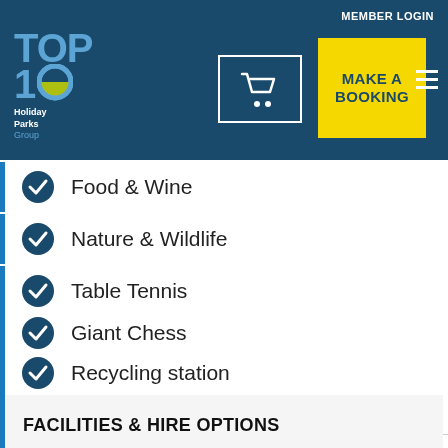MEMBER LOGIN
[Figure (logo): TOP 10 Holiday Parks Group logo in blue and white with yellow/green circle element]
[Figure (illustration): Shopping cart icon in white outline box]
[Figure (other): MAKE A BOOKING yellow button]
Food & Wine
Nature & Wildlife
Table Tennis
Giant Chess
Recycling station
Giant Connect 4
FACILITIES & HIRE OPTIONS